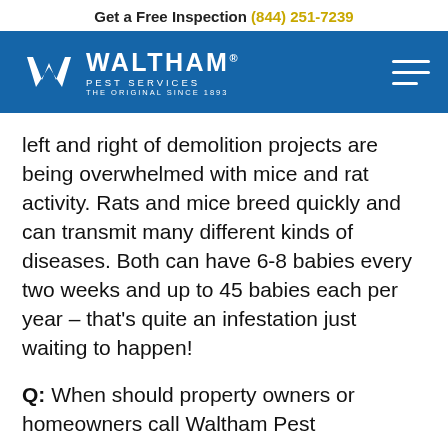Get a Free Inspection (844) 251-7239
[Figure (logo): Waltham Pest Services logo — white W mark and text on blue background with hamburger menu icon]
left and right of demolition projects are being overwhelmed with mice and rat activity. Rats and mice breed quickly and can transmit many different kinds of diseases. Both can have 6-8 babies every two weeks and up to 45 babies each per year – that's quite an infestation just waiting to happen!
Q: When should property owners or homeowners call Waltham Pest